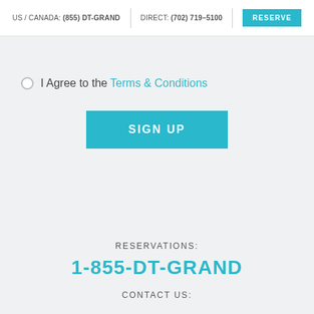US / CANADA: (855) DT-GRAND  |  DIRECT: (702) 719-5100  |  RESERVE
I Agree to the Terms & Conditions
SIGN UP
RESERVATIONS:
1-855-DT-GRAND
CONTACT US: